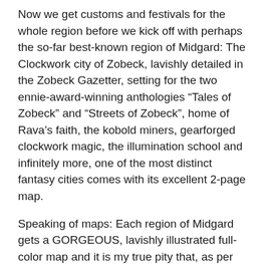Now we get customs and festivals for the whole region before we kick off with perhaps the so-far best-known region of Midgard: The Clockwork city of Zobeck, lavishly detailed in the Zobeck Gazetter, setting for the two ennie-award-winning anthologies “Tales of Zobeck” and “Streets of Zobeck”, home of Rava’s faith, the kobold miners, gearforged clockwork magic, the illumination school and infinitely more, one of the most distinct fantasy cities comes with its excellent 2-page map.
Speaking of maps: Each region of Midgard gets a GORGEOUS, lavishly illustrated full-color map and it is my true pity that, as per the writing of this review, there’s no physical map-pack of these glorious maps: An oversight I hope that will be remedied sometime in the future. The crossroads have more to offer than Zobeck, though: Trade with the shadow fey via Zobeck is just one of the